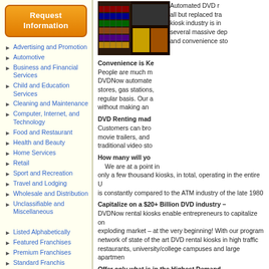[Figure (other): Orange rounded 'Request Information' button]
Advertising and Promotion
Automotive
Business and Financial Services
Child and Education Services
Cleaning and Maintenance
Computer, Internet, and Technology
Food and Restaurant
Health and Beauty
Home Services
Retail
Sport and Recreation
Travel and Lodging
Wholesale and Distribution
Unclassifiable and Miscellaneous
Listed Alphabetically
Featured Franchises
Premium Franchises
Automated DVD rental kiosks have all but replaced traditional video. kiosk industry is in its infancy; several massive deployments... and convenience stores.
Convenience is Ke... People are much m... DVDNow automate... stores, gas stations,... regular basis. Our a... without making an...
DVD Renting mad... Customers can bro... movie trailers, and... traditional video sto...
How many will yo... We are at a point in... only a few thousand kiosks, in total, operating in the entire U... is constantly compared to the ATM industry of the late 1980...
Capitalize on a $20+ Billion DVD industry – DVDNow rental kiosks enable entrepreneurs to capitalize on... exploding market – at the very beginning! With our program... network of state of the art DVD rental kiosks in high traffic... restaurants, university/college campuses and large apartmen...
Offer only what is in the Highest Demand – In a traditional video store, 90% of ALL movie rentals are n... the high in demand, heavily rented, and highly profitable, se... under-producing older titles.
Join a True leader in the au... DVDN...
DVDNow Kiosks, Inc. has established a cont to ent...